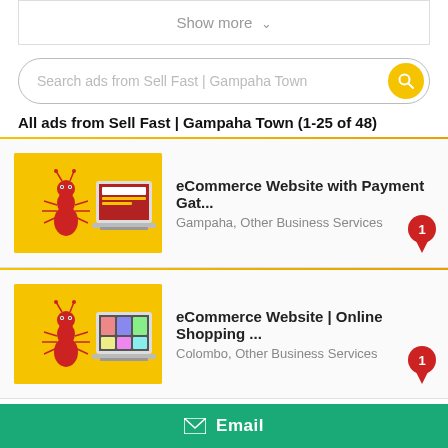Show more ∨
Search ads from Sell Fast | Gampaha Town
All ads from Sell Fast | Gampaha Town (1-25 of 48)
[Figure (screenshot): Ad thumbnail showing ant mascot with laptop - eCommerce Website with Payment Gat...]
eCommerce Website with Payment Gat...
Gampaha, Other Business Services
[Figure (screenshot): Ad thumbnail showing ant mascot with laptop - eCommerce Website | Online Shopping ...]
eCommerce Website | Online Shopping ...
Colombo, Other Business Services
✉ Email